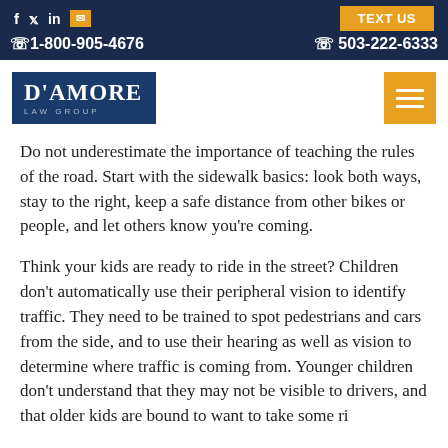f  twitter  in  email  |  TEXT US
☎1-800-905-4676   ☎ 503-222-6333
[Figure (logo): D'Amore Law Group logo — white text on dark navy blue background]
Do not underestimate the importance of teaching the rules of the road. Start with the sidewalk basics: look both ways, stay to the right, keep a safe distance from other bikes or people, and let others know you're coming.
Think your kids are ready to ride in the street? Children don't automatically use their peripheral vision to identify traffic. They need to be trained to spot pedestrians and cars from the side, and to use their hearing as well as vision to determine where traffic is coming from. Younger children don't understand that they may not be visible to drivers, and that older kids are bound to want to take some ri...